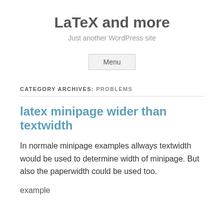LaTeX and more
Just another WordPress site
Menu
CATEGORY ARCHIVES: PROBLEMS
latex minipage wider than textwidth
In normale minipage examples allways textwidth would be used to determine width of minipage. But also the paperwidth could be used too.
example